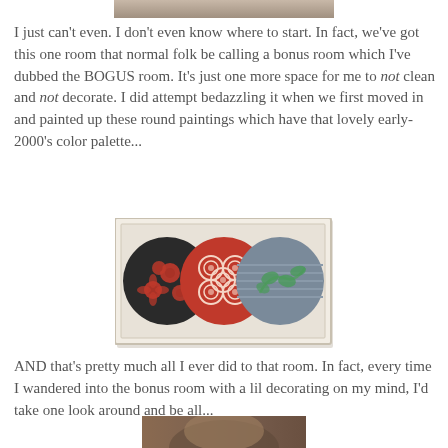[Figure (photo): Top portion of a photo, partially cropped at the top of the page]
I just can't even. I don't even know where to start. In fact, we've got this one room that normal folk be calling a bonus room which I've dubbed the BOGUS room. It's just one more space for me to not clean and not decorate. I did attempt bedazzling it when we first moved in and painted up these round paintings which have that lovely early-2000's color palette...
[Figure (photo): A framed artwork showing three round circular paintings side by side: left circle is dark/black with red flowers, middle circle is red with white circular rose patterns, right circle is gray-blue with green leaf/vine patterns. All in a white/cream rectangular frame.]
AND that's pretty much all I ever did to that room. In fact, every time I wandered into the bonus room with a lil decorating on my mind, I'd take one look around and be all...
[Figure (photo): Bottom portion of a photo showing a person's face/hair, partially cropped at the bottom of the page]